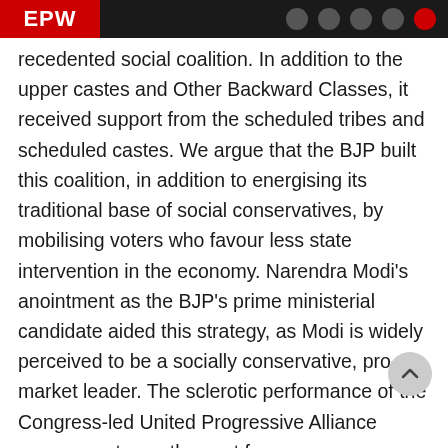EPW
recedented social coalition. In addition to the upper castes and Other Backward Classes, it received support from the scheduled tribes and scheduled castes. We argue that the BJP built this coalition, in addition to energising its traditional base of social conservatives, by mobilising voters who favour less state intervention in the economy. Narendra Modi's anointment as the BJP's prime ministerial candidate aided this strategy, as Modi is widely perceived to be a socially conservative, pro-market leader. The sclerotic performance of the Congress-led United Progressive Alliance government over the past few years compounded the BJP's own efforts. Though the BJP's support base remains Hindu, upper caste, and Hindi-speaking, these other two factors helped the BJP break the social and geographical barriers necessary